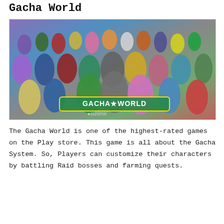Gacha World
[Figure (illustration): Group illustration of many colorful anime-style chibi characters from Gacha World game, with a 'GACHA WORLD' logo banner at the bottom center and 'sunime' watermark.]
The Gacha World is one of the highest-rated games on the Play store. This game is all about the Gacha System. So, Players can customize their characters by battling Raid bosses and farming quests.